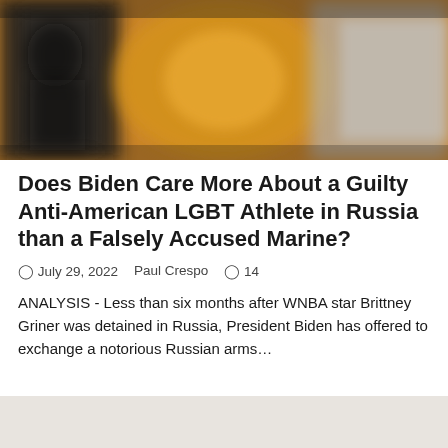[Figure (photo): Blurred/out-of-focus hero image showing an orange/amber background with indistinct figures, basketball-related imagery on the left and right sides]
Does Biden Care More About a Guilty Anti-American LGBT Athlete in Russia than a Falsely Accused Marine?
July 29, 2022   Paul Crespo   14
ANALYSIS - Less than six months after WNBA star Brittney Griner was detained in Russia, President Biden has offered to exchange a notorious Russian arms…